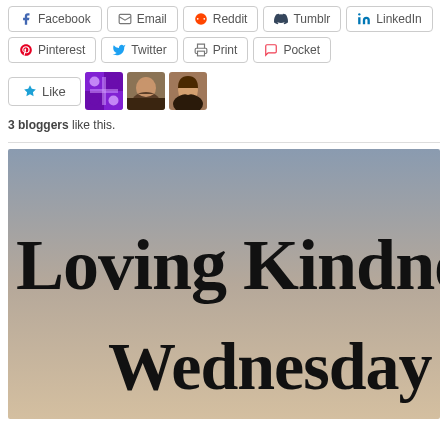[Figure (other): Social share buttons row 1: Facebook, Email, Reddit, Tumblr, LinkedIn]
[Figure (other): Social share buttons row 2: Pinterest, Twitter, Print, Pocket]
[Figure (other): Like button with 3 blogger avatars]
3 bloggers like this.
[Figure (photo): Photo with handwritten text reading 'Loving Kindness Wednesday' on a gradient sky background]